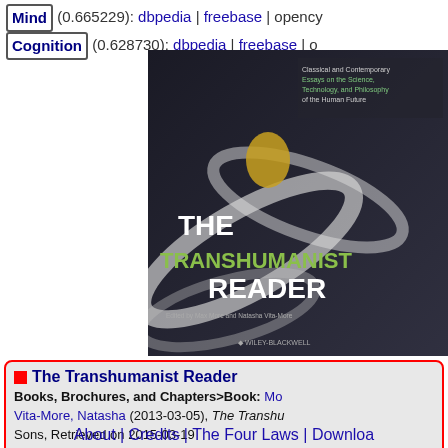Mind (0.665229): dbpedia | freebase | opency
Cognition (0.628730): dbpedia | freebase | o
[Figure (photo): Book cover of 'The Transhumanist Reader' - dark background with white curved shapes and green/white title text, published by Wiley-Blackwell]
The Transhumanist Reader
Books, Brochures, and Chapters>Book: Mo... Vita-More, Natasha (2013-03-05), The Transhu... Sons, Retrieved on 2015-03-19
• Source Material [books.google.com]
Folksonomies: medical transhumanism
About | Credits | The Four Laws | Downloa